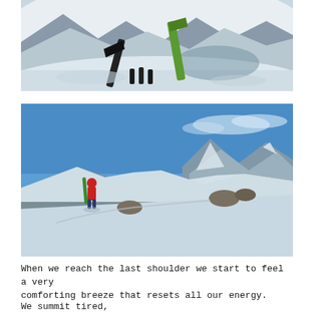[Figure (photo): Close-up photo of ice climbing tools/crampons in snow, with snowy mountain terrain in background. Green equipment visible.]
[Figure (photo): Wide mountain landscape photo showing a person with skis/snowboard on a snowy ridge with dramatic blue sky and snow-capped peaks in background.]
When we reach the last shoulder we start to feel a very comforting breeze that resets all our energy.
We summit tired,